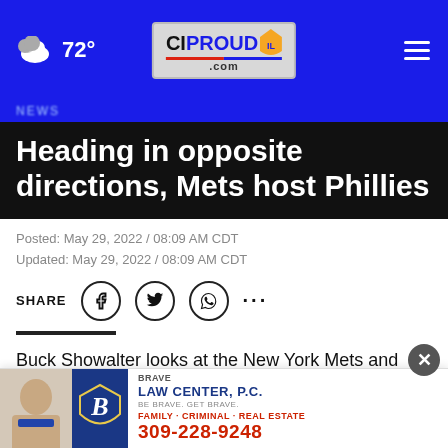☁ 72° | CIPROUD.com | ≡
Heading in opposite directions, Mets host Phillies
Posted: May 29, 2022 / 08:09 AM CDT
Updated: May 29, 2022 / 08:09 AM CDT
SHARE
Buck Showalter looks at the New York Mets and sees a team performing well in all aspects of the game.
Joe G... sees the opposite
[Figure (advertisement): Brave Law Center P.C. advertisement with attorney photo, shield logo, and phone number 309-228-9248]